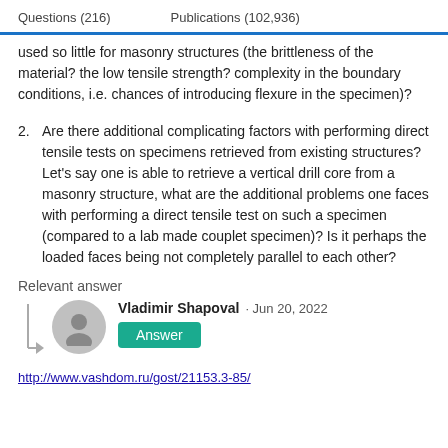Questions (216)    Publications (102,936)
used so little for masonry structures (the brittleness of the material? the low tensile strength? complexity in the boundary conditions, i.e. chances of introducing flexure in the specimen)?
2. Are there additional complicating factors with performing direct tensile tests on specimens retrieved from existing structures? Let's say one is able to retrieve a vertical drill core from a masonry structure, what are the additional problems one faces with performing a direct tensile test on such a specimen (compared to a lab made couplet specimen)? Is it perhaps the loaded faces being not completely parallel to each other?
Relevant answer
Vladimir Shapoval · Jun 20, 2022
Answer
http://www.vashdom.ru/gost/21153.3-85/